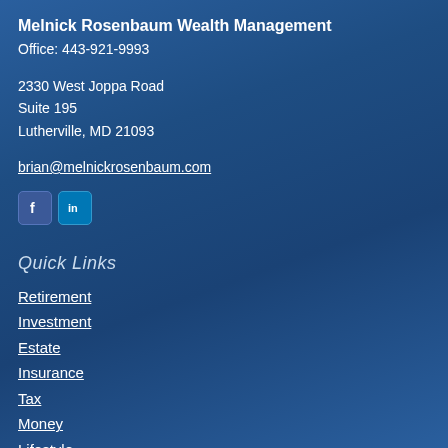Melnick Rosenbaum Wealth Management
Office: 443-921-9993
2330 West Joppa Road
Suite 195
Lutherville, MD 21093
brian@melnickrosenbaum.com
[Figure (logo): Facebook and LinkedIn social media icons]
Quick Links
Retirement
Investment
Estate
Insurance
Tax
Money
Lifestyle
All Articles
All Videos